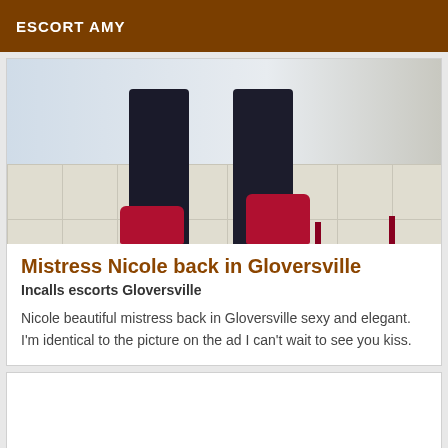ESCORT AMY
[Figure (photo): Photo showing legs of a woman wearing dark pants and red high heels standing on white tile floor]
Mistress Nicole back in Gloversville
Incalls escorts Gloversville
Nicole beautiful mistress back in Gloversville sexy and elegant. I'm identical to the picture on the ad I can't wait to see you kiss.